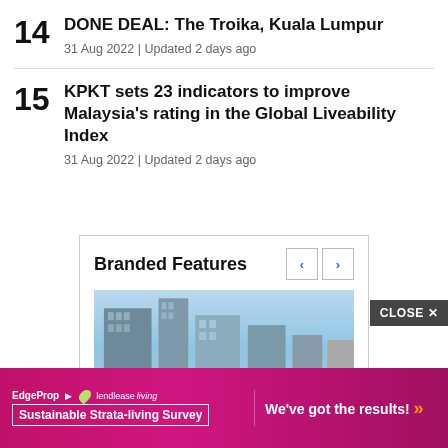14 DONE DEAL: The Troika, Kuala Lumpur
31 Aug 2022 | Updated 2 days ago
15 KPKT sets 23 indicators to improve Malaysia's rating in the Global Liveability Index
31 Aug 2022 | Updated 2 days ago
[Figure (screenshot): Branded Features carousel widget with navigation arrows and a building/skyscraper image]
[Figure (screenshot): CLOSE button overlay on bottom right of the branded features box]
[Figure (infographic): Advertisement banner: EdgeProp and Lendlease Living Sustainable Strata-living Survey. Text: We've got the results!]